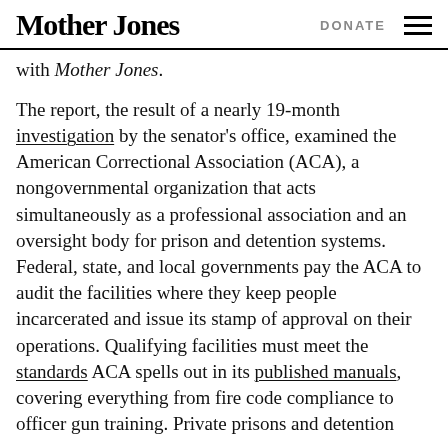Mother Jones | DONATE
with Mother Jones.
The report, the result of a nearly 19-month investigation by the senator's office, examined the American Correctional Association (ACA), a nongovernmental organization that acts simultaneously as a professional association and an oversight body for prison and detention systems. Federal, state, and local governments pay the ACA to audit the facilities where they keep people incarcerated and issue its stamp of approval on their operations. Qualifying facilities must meet the standards ACA spells out in its published manuals, covering everything from fire code compliance to officer gun training. Private prisons and detention